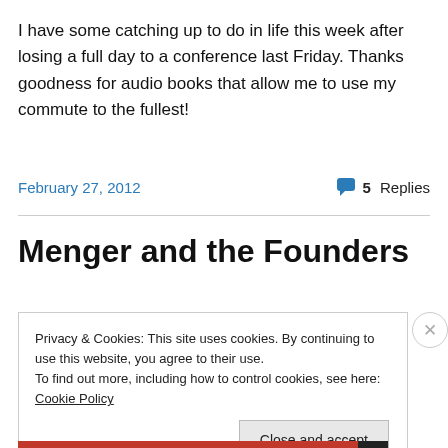I have some catching up to do in life this week after losing a full day to a conference last Friday. Thanks goodness for audio books that allow me to use my commute to the fullest!
February 27, 2012   5 Replies
Menger and the Founders
Privacy & Cookies: This site uses cookies. By continuing to use this website, you agree to their use.
To find out more, including how to control cookies, see here: Cookie Policy
Close and accept